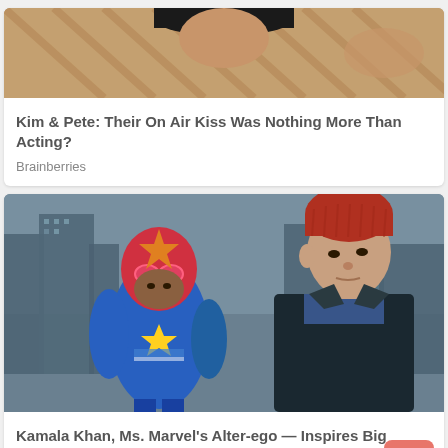[Figure (photo): Partial photo of a person, cropped at the top of the card, showing clothing with a striped/patterned texture, dark hair visible]
Kim & Pete: Their On Air Kiss Was Nothing More Than Acting?
Brainberries
[Figure (photo): A superhero character in a blue and red Ms. Marvel costume with a star emblem and red mask with goggles, facing a young man wearing a red beanie hat and dark jacket, with city buildings in the background]
Kamala Khan, Ms. Marvel's Alter-ego — Inspires Big Hopes
Brainberries